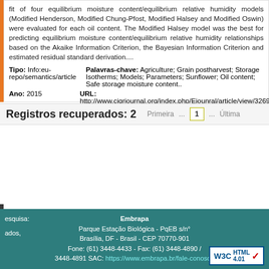fit of four equilibrium moisture content/equilibrium relative humidity models (Modified Henderson, Modified Chung-Pfost, Modified Halsey and Modified Oswin) were evaluated for each oil content. The Modified Halsey model was the best for predicting equilibrium moisture content/equilibrium relative humidity relationships based on the Akaike Information Criterion, the Bayesian Information Criterion and estimated residual standard derivation....
Tipo: Info:eu-repo/semantics/article
Palavras-chave: Agriculture; Grain postharvest; Storage Isotherms; Models; Parameters; Sunflower; Oil content; Safe storage moisture content..
Ano: 2015
URL: http://www.cigrjournal.org/index.php/Ejounral/article/view/3269
Registros recuperados: 2
Embrapa
Parque Estação Biológica - PqEB s/n°
Brasília, DF - Brasil - CEP 70770-901
Fone: (61) 3448-4433 - Fax: (61) 3448-4890 / 3448-4891 SAC: https://www.embrapa.br/fale-conosco